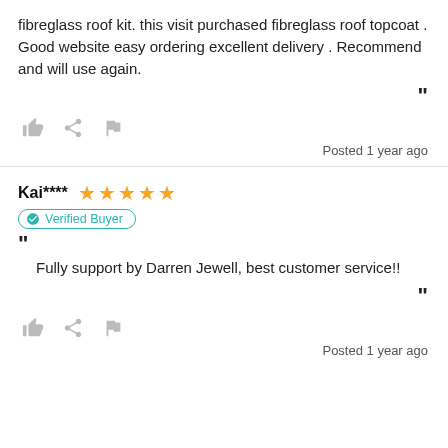fibreglass roof kit. this visit purchased fibreglass roof topcoat . Good website easy ordering excellent delivery . Recommend and will use again.
Posted 1 year ago
Kai**** ★★★★★
Verified Buyer
Fully support by Darren Jewell, best customer service!!